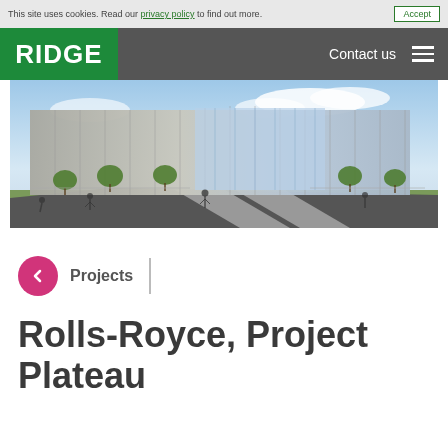This site uses cookies. Read our privacy policy to find out more.   Accept
RIDGE   Contact us
[Figure (photo): Architectural rendering of a large modern industrial or commercial building with glass and concrete facade, trees along the street, people walking, under a blue cloudy sky.]
← Projects
Rolls-Royce, Project Plateau